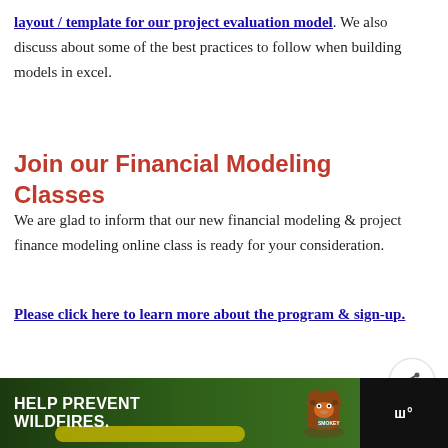layout / template for our project evaluation model. We also discuss about some of the best practices to follow when building models in excel.
Join our Financial Modeling Classes
We are glad to inform that our new financial modeling & project finance modeling online class is ready for your consideration.
Please click here to learn more about the program & sign-up.
[Figure (infographic): Heart/like button (blue circle with heart icon) and share button (white circle with share icon)]
[Figure (infographic): WHAT'S NEXT arrow label with thumbnail image and text 'How to show Indian...']
[Figure (infographic): Footer advertisement banner: HELP PREVENT WILDFIRES with Smokey Bear illustration and green forest background, with network logo on the right]